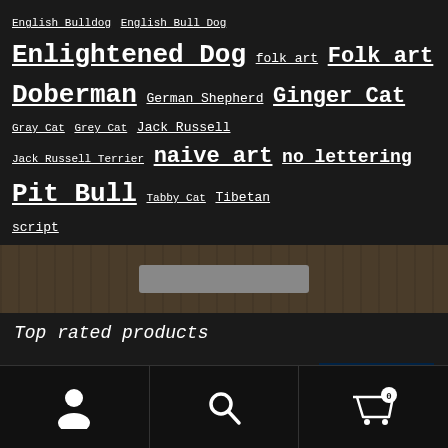English Bulldog English Bull Dog Enlightened Dog folk art Folk art Doberman German Shepherd Ginger Cat Gray Cat Grey Cat Jack Russell Jack Russell Terrier naive art no lettering Pit Bull Tabby Cat Tibetan script
[Figure (photo): Dark wood-textured banner with a grey search bar rectangle in the center]
Top rated products
Boxer by Nara
$180.00
[Figure (photo): Product image showing a dog (boxer) illustration on a dark blue background with text in Devanagari script and 'DANGER DOG' in bold white letters]
[Figure (other): Footer navigation bar with person icon, search/magnifying glass icon, and shopping cart icon with badge showing 0]